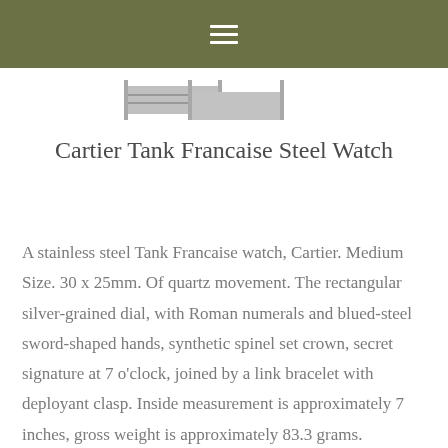≡
[Figure (photo): Watch clasp/bracelet strip visible at top below header bar]
Cartier Tank Francaise Steel Watch
A stainless steel Tank Francaise watch, Cartier. Medium Size. 30 x 25mm. Of quartz movement. The rectangular silver-grained dial, with Roman numerals and blued-steel sword-shaped hands, synthetic spinel set crown, secret signature at 7 o'clock, joined by a link bracelet with deployant clasp. Inside measurement is approximately 7 inches, gross weight is approximately 83.3 grams.